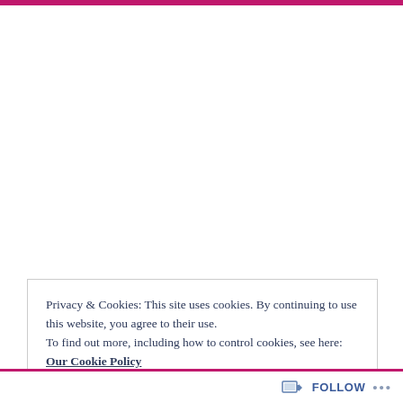Privacy & Cookies: This site uses cookies. By continuing to use this website, you agree to their use.
To find out more, including how to control cookies, see here:
Our Cookie Policy
Close and accept
Follow ...